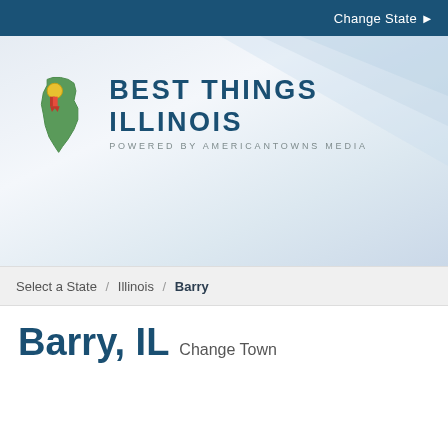Change State ▶
[Figure (logo): Best Things Illinois logo with Illinois state shape graphic and text 'BEST THINGS ILLINOIS / POWERED BY AMERICANTOWNS MEDIA']
Select a State / Illinois / Barry
Barry, IL  Change Town